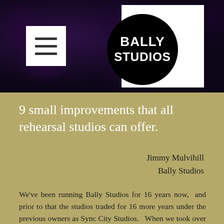[Figure (logo): Bally Studios logo: black circle with white bold text reading BALLY STUDIOS, placed in top-right of dark floral header banner. A white hamburger menu icon button is at top-left of the header.]
9 small improvements that all rehearsal studios can offer.
Jimmy Mulvihill
Bally Studios
We've been running Bally Studios for 16 years now,  and prior to that the studios traded for 16 more years under the previous owners as Sync City Studios.   When we took over the history of the studios was impressive, yet in recent years it's decline was clear.  It was averaging 37